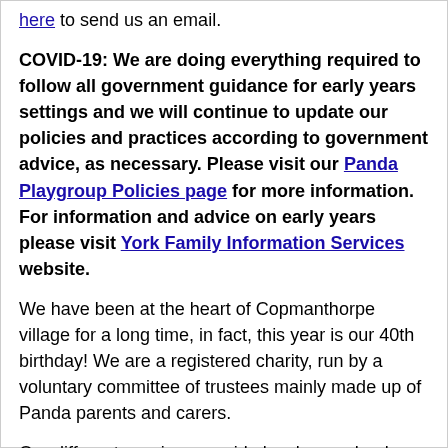here to send us an email.
COVID-19: We are doing everything required to follow all government guidance for early years settings and we will continue to update our policies and practices according to government advice, as necessary. Please visit our Panda Playgroup Policies page for more information. For information and advice on early years please visit York Family Information Services website.
We have been at the heart of Copmanthorpe village for a long time, in fact, this year is our 40th birthday! We are a registered charity, run by a voluntary committee of trustees mainly made up of Panda parents and carers.
Our different sessions provide local pre-school children with an exciting journey of learning through play from birth to school. We aim to help parents find somewhere safe and welcoming to come and have fun with their children, meet other parents and get a taste of what Panda Pre-School has to offer. To find out